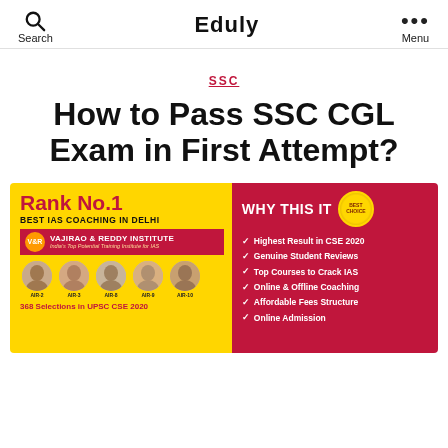Search | Eduly | Menu
SSC
How to Pass SSC CGL Exam in First Attempt?
[Figure (infographic): Advertisement banner for Vajirao & Reddy Institute. Left yellow panel: 'Rank No.1 BEST IAS COACHING IN DELHI' with institute logo and 5 student photos with ranks. Right red panel: 'WHY THIS IT' with bullet points: Highest Result in CSE 2020, Genuine Student Reviews, Top Courses to Crack IAS, Online & Offline Coaching, Affordable Fees Structure, Online Admission. Bottom text: '368 Selections in UPSC CSE 2020']